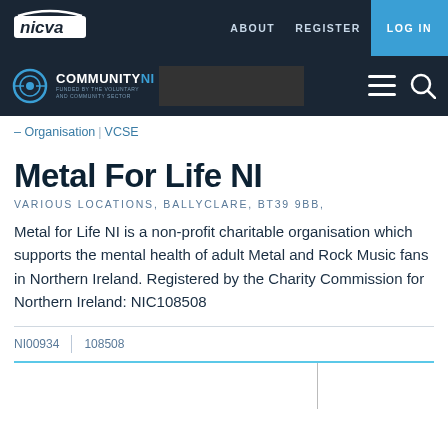nicva | ABOUT  REGISTER  LOG IN
[Figure (logo): Community NI logo with circular icon and hamburger menu and search icon on dark background]
– Organisation | VCSE
Metal For Life NI
VARIOUS LOCATIONS, BALLYCLARE, BT39 9BB,
Metal for Life NI is a non-profit charitable organisation which supports the mental health of adult Metal and Rock Music fans in Northern Ireland. Registered by the Charity Commission for Northern Ireland: NIC108508
NI00934  |  108508